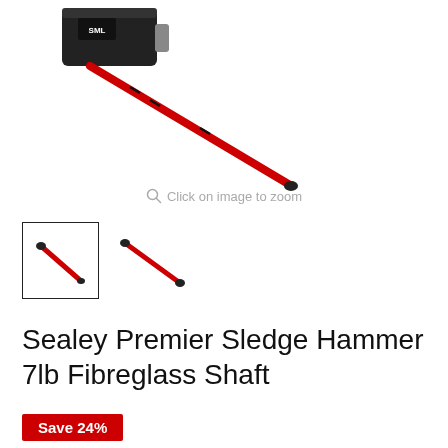[Figure (photo): Product photo of a Sealey Premier Sledge Hammer 7lb with Fibreglass Shaft, showing a large black head with red and black fiberglass handle, partially cropped at top-left]
Click on image to zoom
[Figure (photo): Two small thumbnail images of the sledge hammer handle/shaft in red and black, one inside a selection box border and one outside]
Sealey Premier Sledge Hammer 7lb Fibreglass Shaft
Save 24%